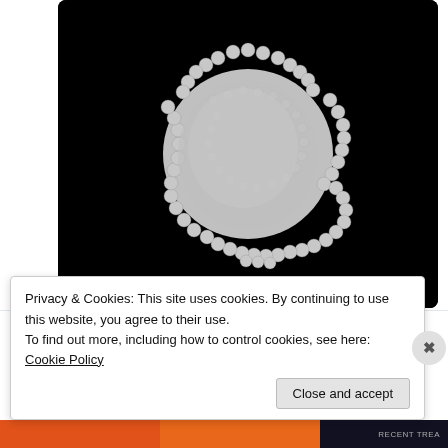[Figure (illustration): A fractal shape (resembling a Koch snowflake or similar fractal boundary) composed of small hexagonal/circular tiles arranged in a roughly circular blob shape with jagged fractal edges, white/grey tiles on a black background.]
Dan Anderson
@dandersod  Follow
Privacy & Cookies: This site uses cookies. By continuing to use this website, you agree to their use.
To find out more, including how to control cookies, see here: Cookie Policy
Close and accept